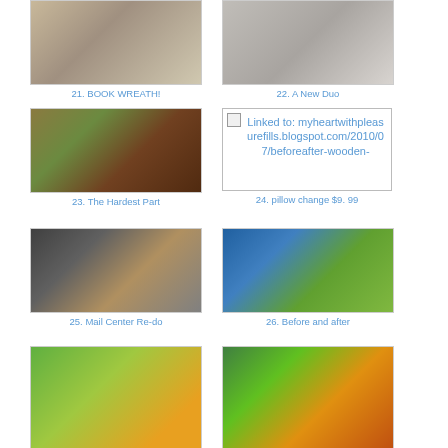[Figure (photo): Photo thumbnail 21 - Book Wreath]
21. BOOK WREATH!
[Figure (photo): Photo thumbnail 22 - A New Duo]
22. A New Duo
[Figure (photo): Photo thumbnail 23 - The Hardest Part]
23. The Hardest Part
[Figure (other): Linked image placeholder with URL text: myheartwithpleasurefills.blogspot.com/2010/07/beforeafter-wooden-]
24. pillow change $9. 99
[Figure (photo): Photo thumbnail 25 - Mail Center Re-do]
25. Mail Center Re-do
[Figure (photo): Photo thumbnail 26 - Before and after]
26. Before and after
[Figure (photo): Photo thumbnail 27]
[Figure (photo): Photo thumbnail 28]